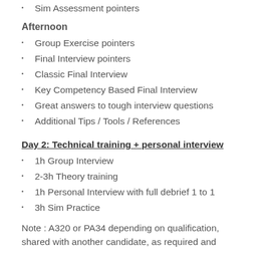Sim Assessment pointers
Afternoon
Group Exercise pointers
Final Interview pointers
Classic Final Interview
Key Competency Based Final Interview
Great answers to tough interview questions
Additional Tips / Tools / References
Day 2: Technical training + personal interview
1h Group Interview
2-3h Theory training
1h Personal Interview with full debrief 1 to 1
3h Sim Practice
Note : A320 or PA34 depending on qualification, shared with another candidate, as required and